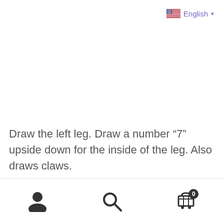English ▾
Draw the left leg. Draw a number “7” upside down for the inside of the leg. Also draws claws.
[user icon] [search icon] [cart icon] 0